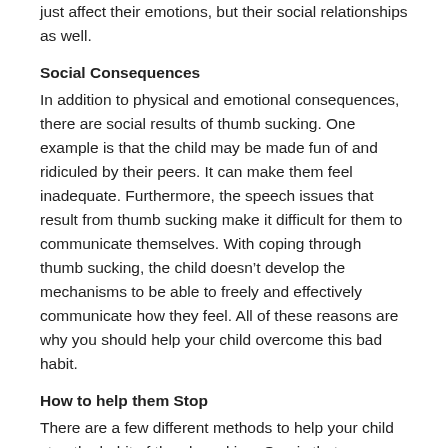just affect their emotions, but their social relationships as well.
Social Consequences
In addition to physical and emotional consequences, there are social results of thumb sucking. One example is that the child may be made fun of and ridiculed by their peers. It can make them feel inadequate. Furthermore, the speech issues that result from thumb sucking make it difficult for them to communicate themselves. With coping through thumb sucking, the child doesn’t develop the mechanisms to be able to freely and effectively communicate how they feel. All of these reasons are why you should help your child overcome this bad habit.
How to help them Stop
There are a few different methods to help your child stop the habit of thumb sucking. One is that you can use a thumb guard. This is a product that